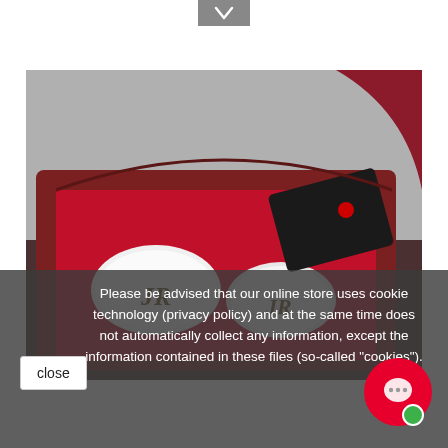[Figure (photo): Navigation arrow button at the top center of the page, gray background with right-pointing chevron icon]
[Figure (photo): Photograph of a luxury gift box with red velvet interior, containing two white porcelain items with gold monogram 'JR' initials, and a black card visible in the background]
Please be advised that our online store uses cookie technology (privacy policy) and at the same time does not automatically collect any information, except the information contained in these files (so-called "cookies").